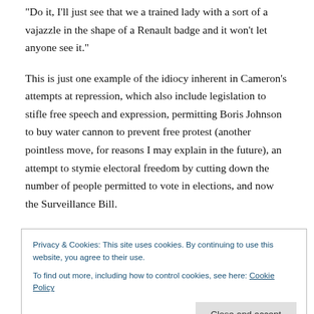"Do it, I'll just see that we a trained lady with a sort of a vajazzle in the shape of a Renault badge and it won't let anyone see it."
This is just one example of the idiocy inherent in Cameron's attempts at repression, which also include legislation to stifle free speech and expression, permitting Boris Johnson to buy water cannon to prevent free protest (another pointless move, for reasons I may explain in the future), an attempt to stymie electoral freedom by cutting down the number of people permitted to vote in elections, and now the Surveillance Bill.
Privacy & Cookies: This site uses cookies. By continuing to use this website, you agree to their use.
To find out more, including how to control cookies, see here: Cookie Policy
your freedom… and how David Cameron c***od it up!